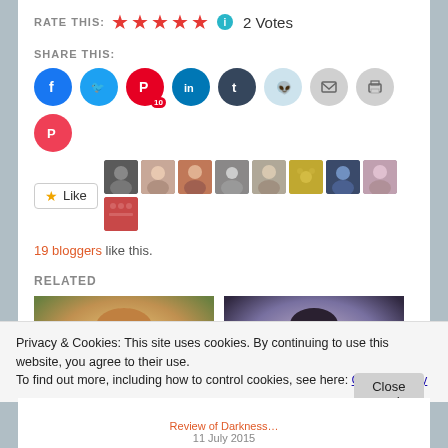RATE THIS: ★★★★★ ℹ 2 Votes
SHARE THIS:
[Figure (other): Social share icons: Facebook, Twitter, Pinterest (10), LinkedIn, Tumblr, Reddit, Email, Print, Pocket]
★ Like
[Figure (photo): Row of 9 blogger avatar thumbnails]
19 bloggers like this.
RELATED
[Figure (photo): Related post image: woman with red hair]
[Figure (photo): Related post image: dark-haired man with intense expression]
Privacy & Cookies: This site uses cookies. By continuing to use this website, you agree to their use.
To find out more, including how to control cookies, see here: Cookie Policy
Close and accept